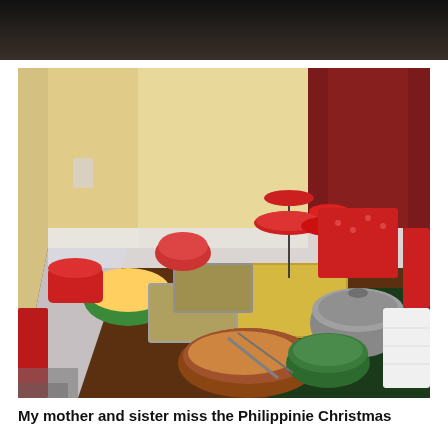[Figure (photo): Partial dark photo at the top of the page, showing a dark background, possibly the top portion of a previous image.]
[Figure (photo): A Filipino Christmas feast spread on a large dining table covered with a white lace tablecloth and a dark green cloth. The table is loaded with various dishes in chafing dishes, bowls, and serving platters. Food items include what appears to be a whole roasted pig (lechon), macaroni salad in a green bowl, rice dishes, various Filipino holiday foods, desserts on tiered stands, and a pot of soup. Red chairs with red polka-dot pillows are visible in the background, along with red curtains tied with a rope on the right side.]
My mother and sister miss the Philippinie Christmas